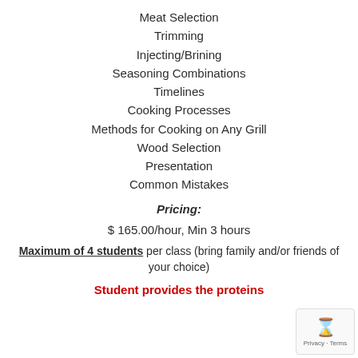Meat Selection
Trimming
Injecting/Brining
Seasoning Combinations
Timelines
Cooking Processes
Methods for Cooking on Any Grill
Wood Selection
Presentation
Common Mistakes
Pricing:
$ 165.00/hour, Min 3 hours
Maximum of 4 students per class (bring family and/or friends of your choice)
Student provides the proteins